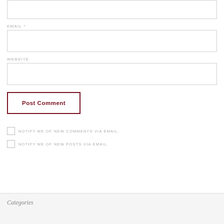[Figure (screenshot): Top portion of a comment form input box (no label visible, partially cut off at top)]
EMAIL *
[Figure (screenshot): Email input field, empty]
WEBSITE
[Figure (screenshot): Website input field, empty]
Post Comment
NOTIFY ME OF NEW COMMENTS VIA EMAIL.
NOTIFY ME OF NEW POSTS VIA EMAIL.
Categories